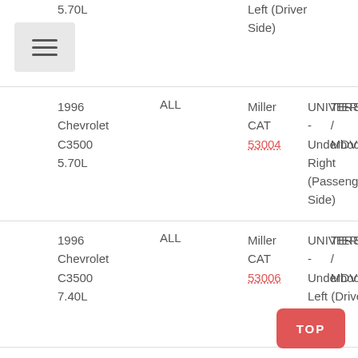5.70L
Left (Driver Side)
| Vehicle | Engine | Brand | Position | Qty | Tier |
| --- | --- | --- | --- | --- | --- |
| 1996 Chevrolet C3500 5.70L | ALL | Miller CAT 53004 | UNIVERSAL - Underbody Right (Passenger Side) | 2 | TIER / MDV |
| 1996 Chevrolet C3500 7.40L | ALL | Miller CAT 53006 | UNIVERSAL - Underbody Left (Driver Side) | 2 | TIER / MDV |
| 1996 Chevrolet C3500 7.40L | ALL | Miller CAT 53006 | UNIVERSAL - Underbody Right (Passenger Side) | 2 | TIER / MDV |